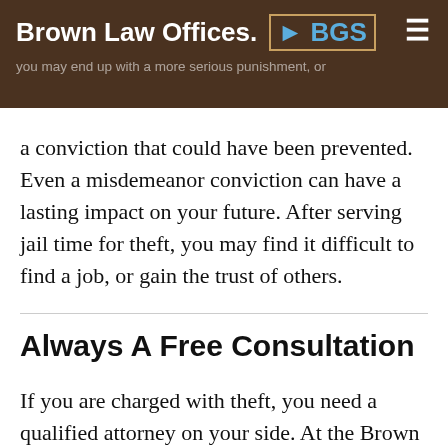Brown Law Offices. BGS
a conviction that could have been prevented. Even a misdemeanor conviction can have a lasting impact on your future. After serving jail time for theft, you may find it difficult to find a job, or gain the trust of others.
Always A Free Consultation
If you are charged with theft, you need a qualified attorney on your side. At the Brown Law Offices, P.A., we have the experience and knowledge to help get the best outcome for you. Our attorneys will work hard to fight for your interests. Don't let a theft conviction get in the way of your future. Call